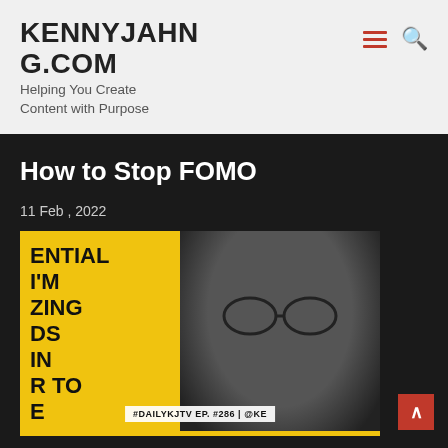KENNYJAHNG.COM
Helping You Create Content with Purpose
How to Stop FOMO
11 Feb , 2022
[Figure (photo): Thumbnail image for DailyKJTV Episode 286 showing a man with glasses on a yellow background with bold text reading ESSENTIAL I'M ZING DS IN R TO E, and a badge reading #DAILYKJTV EP. #286 | @KE]
#DailyKJTV Episode 286 10 Essential Skills I'm Realizing My Kids Need In Order To Thrive